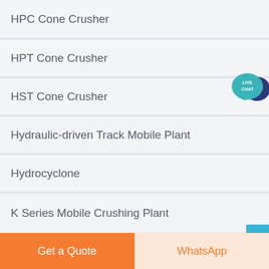HPC Cone Crusher
HPT Cone Crusher
HST Cone Crusher
Hydraulic-driven Track Mobile Plant
Hydrocyclone
K Series Mobile Crushing Plant
[Figure (illustration): Live chat speech bubble icon with teal/dark blue colors and text LIVE CHAT]
Get a Quote
WhatsApp